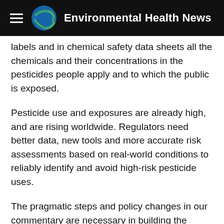Environmental Health News
...accurately and fully disclose on pesticide labels and in chemical safety data sheets all the chemicals and their concentrations in the pesticides people apply and to which the public is exposed.
Pesticide use and exposures are already high, and are rising worldwide. Regulators need better data, new tools and more accurate risk assessments based on real-world conditions to reliably identify and avoid high-risk pesticide uses.
The pragmatic steps and policy changes in our commentary are necessary in building the capacity of the scientific community and regulators to